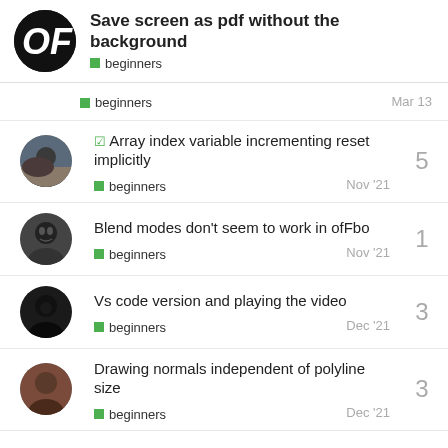Save screen as pdf without the background | beginners
beginners | Mar 13
☑ Array index variable incrementing reset implicitly | beginners | Nov '21 | 5
Blend modes don't seem to work in ofFbo | beginners | Nov '21 | 1
Vs code version and playing the video | beginners | Dec '21 | 3
Drawing normals independent of polyline size | beginners | Dec '21 | 3
Want to read more? Browse other topics in